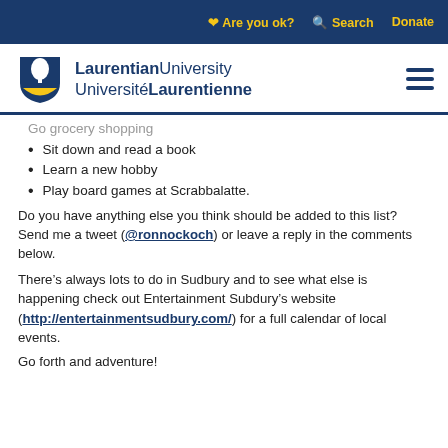Are you ok?  Search  Donate
[Figure (logo): Laurentian University / Université Laurentienne shield logo with text]
Go grocery shopping
Sit down and read a book
Learn a new hobby
Play board games at Scrabbalatte.
Do you have anything else you think should be added to this list? Send me a tweet (@ronnockoch) or leave a reply in the comments below.
There’s always lots to do in Sudbury and to see what else is happening check out Entertainment Subdury’s website (http://entertainmentsudbury.com/) for a full calendar of local events.
Go forth and adventure!